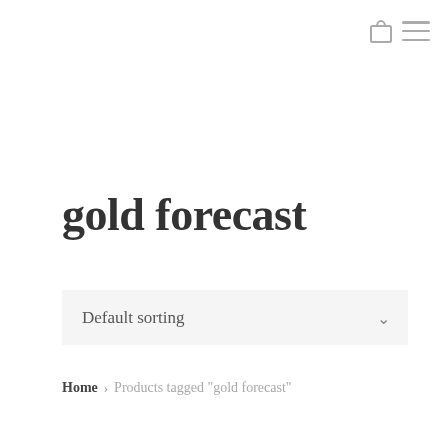[bag icon] [menu icon]
gold forecast
Default sorting
Home > Products tagged "gold forecast"